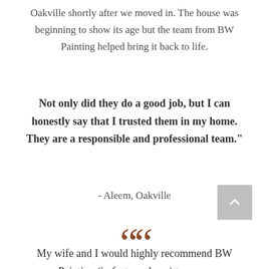Oakville shortly after we moved in. The house was beginning to show its age but the team from BW Painting helped bring it back to life.
Not only did they do a good job, but I can honestly say that I trusted them in my home. They are a responsible and professional team."
- Aleem, Oakville
[Figure (illustration): Back to top button - grey square with upward chevron arrow]
““
My wife and I would highly recommend BW Painting (in fact, we have) to many